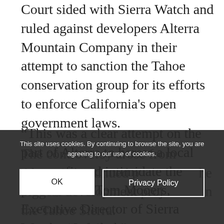Court sided with Sierra Watch and ruled against developers Alterra Mountain Company in their attempt to sanction the Tahoe conservation group for its efforts to enforce California's open government laws.
“This was a clear attempt on the part of Alterra to harass a local non-profit and intimidate the public,” said Tom Mooers, Executive Director of Sierra Watch.  “It failed.”
This site uses cookies. By continuing to browse the site, you are agreeing to our use of cookies.
The controversy arose from Alterra’s continued p[...]he biggest development proj[...]n the Tahoe Sierra.